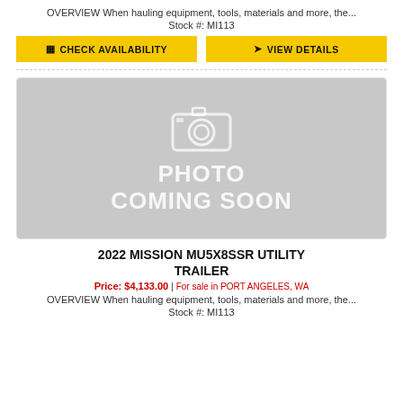OVERVIEW When hauling equipment, tools, materials and more, the...
Stock #: MI113
CHECK AVAILABILITY
VIEW DETAILS
[Figure (photo): Photo coming soon placeholder with camera icon on grey background]
2022 MISSION MU5X8SSR UTILITY TRAILER
Price: $4,133.00 | For sale in PORT ANGELES, WA
OVERVIEW When hauling equipment, tools, materials and more, the...
Stock #: MI113